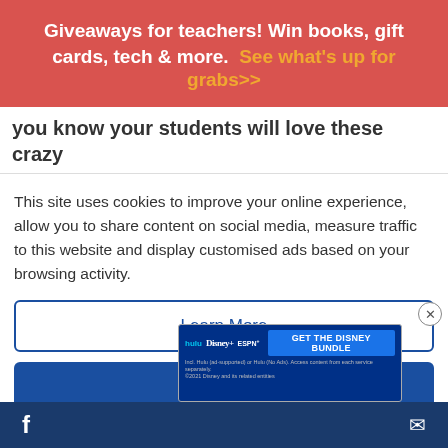Giveaways for teachers! Win books, gift cards, tech & more. See what's up for grabs>>
you know your students will love these crazy
This site uses cookies to improve your online experience, allow you to share content on social media, measure traffic to this website and display customised ads based on your browsing activity.
Learn More
Accept
5. Chalk it up
[Figure (photo): Partial image showing colorful striped items, likely chalk or similar school supplies]
[Figure (infographic): Disney Bundle advertisement banner showing Hulu, Disney+, ESPN+ logos with 'GET THE DISNEY BUNDLE' call to action]